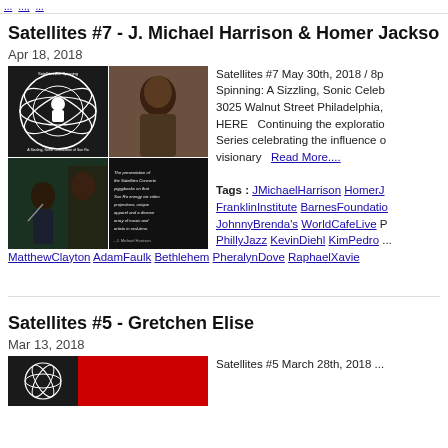[navigation links clipped]
Satellites #7 - J. Michael Harrison & Homer Jackson (clipped)
Apr 18, 2018
[Figure (photo): Photo collage for Satellites #7 event featuring Satellites Are Spinning Sun Ra logo, portrait of J. Michael Harrison, concert performance photo, and a quote about Satellites Concerts presentation.]
Satellites #7 May 30th, 2018 / 8p... Spinning: A Sizzling, Sonic Celeb... 3025 Walnut Street Philadelphia,... HERE   Continuing the exploration... Series celebrating the influence o... visionary
Read More....
Tags : JMichaelHarrison HomerJ... FranklinInstitute BarnesFoundatio... JohnnyBrenda's WorldCafeLive P... PhillyJazz KevinDiehl KimPedro ... RonHowerton DanKaplowitz Jock... MatthewClayton AdamFaulk Bethlehem PheralynDove RaphaelXavie...
Satellites #5 - Gretchen Elise
Mar 13, 2018
Satellites #5 March 28th, 2018 ...